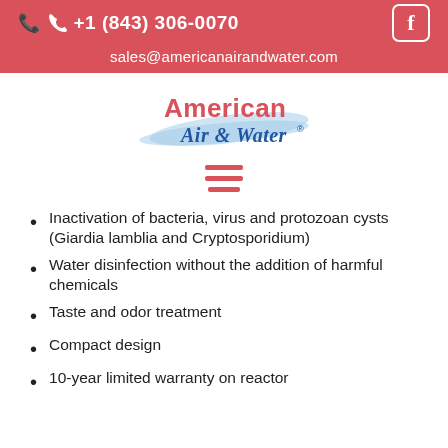+1 (843) 306-0070  sales@americanairandwater.com
[Figure (logo): American Air & Water® logo with red 'American' text and blue italic 'Air & Water' script with swoosh graphic]
Inactivation of bacteria, virus and protozoan cysts (Giardia lamblia and Cryptosporidium)
Water disinfection without the addition of harmful chemicals
Taste and odor treatment
Compact design
10-year limited warranty on reactor